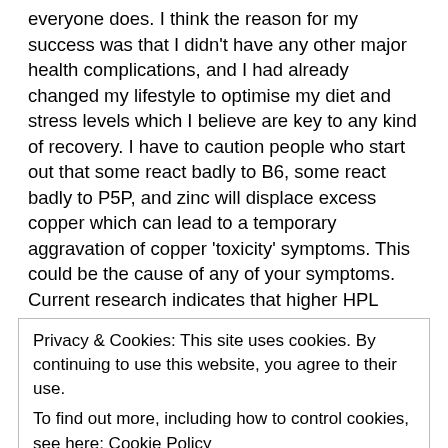everyone does. I think the reason for my success was that I didn't have any other major health complications, and I had already changed my lifestyle to optimise my diet and stress levels which I believe are key to any kind of recovery. I have to caution people who start out that some react badly to B6, some react badly to P5P, and zinc will displace excess copper which can lead to a temporary aggravation of copper 'toxicity' symptoms. This could be the cause of any of your symptoms. Current research indicates that higher HPL levels are a result of oxidative stress (overwhelming amounts of free radicals), which is caused any kind of physical, mental, or emotional stressor including illness. This oxidative stress interferes with, among countless other body functions,
Privacy & Cookies: This site uses cookies. By continuing to use this website, you agree to their use.
To find out more, including how to control cookies, see here: Cookie Policy
You may have to start slow and only take one capsule to